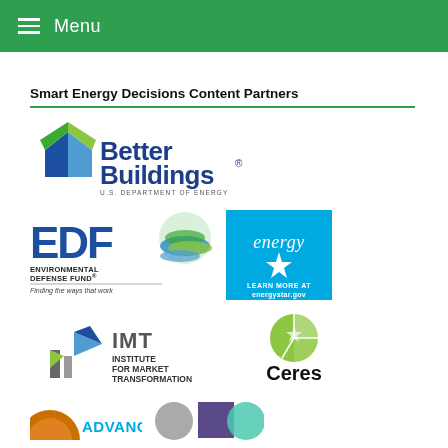Menu
Smart Energy Decisions Content Partners
[Figure (logo): Better Buildings logo — U.S. Department of Energy]
[Figure (logo): EDF Environmental Defense Fund — Finding the ways that work]
[Figure (logo): ENERGY STAR — Learn more at energystar.gov]
[Figure (logo): IMT Institute for Market Transformation]
[Figure (logo): Ceres]
[Figure (logo): Advanced (partial logo visible at bottom)]
[Figure (logo): Unknown logo — grey circle, purple square, teal circle (partial)]